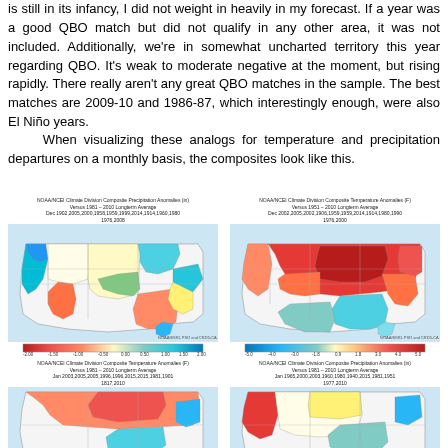is still in its infancy, I did not weight in heavily in my forecast. If a year was a good QBO match but did not qualify in any other area, it was not included. Additionally, we're in somewhat uncharted territory this year regarding QBO. It's weak to moderate negative at the moment, but rising rapidly. There really aren't any great QBO matches in the sample. The best matches are 2009-10 and 1986-87, which interestingly enough, were also El Niño years.
When visualizing these analogs for temperature and precipitation departures on a monthly basis, the composites look like this.
[Figure (map): NOAA/NCEI Climate Division Composite Precipitation Anomalies (in) Versus 1981-2010 Longterm Average Dec 1902,2005,2000,1958,1959,1999,2014,1914,1960,1980 1976,2008 - US climate division map showing precipitation anomalies with color scale from -2.00 to 2.00]
[Figure (map): NOAA/NCEI Climate Division Composite Temperature Anomalies (F) Versus 1981-2010 Longterm Average Dec 2002,2005,2002,1906,1959,1959,2014,1914,1980,1990 1976,2000 - US climate division map showing temperature anomalies with warm colors over northern/central US, color scale from -5.0 to 5.0]
[Figure (map): NOAA/NCEI Climate Division Composite Temperature Anomalies (F) Versus 1981-2010 Longterm Average for 2003,2005,2005,1996,1996,2015,2015,1981,1901 1817,2010 - US climate division map showing temperature anomalies, partial view]
[Figure (map): NOAA/NCEI Climate Division Composite Precipitation Anomalies (in) Versus 1981-2010 Longterm Average for 1965,2000,2003,1960,1980,1940,2015,1981,1951 1977,2010 - US climate division map showing precipitation anomalies, partial view]